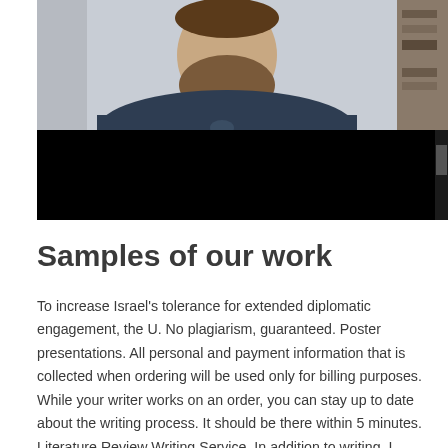[Figure (photo): A man with a beard wearing a dark blue t-shirt, photographed from the chest up. The lower portion of the image is black (possibly a video player interface). Bookshelves are visible in the background.]
Samples of our work
To increase Israel's tolerance for extended diplomatic engagement, the U. No plagiarism, guaranteed. Poster presentations. All personal and payment information that is collected when ordering will be used only for billing purposes. While your writer works on an order, you can stay up to date about the writing process. It should be there within 5 minutes. Literature Review Writing Service. In addition to writing, I aspire